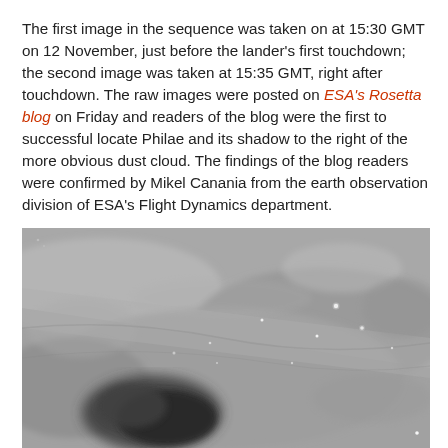The first image in the sequence was taken on at 15:30 GMT on 12 November, just before the lander's first touchdown; the second image was taken at 15:35 GMT, right after touchdown. The raw images were posted on ESA's Rosetta blog on Friday and readers of the blog were the first to successful locate Philae and its shadow to the right of the more obvious dust cloud. The findings of the blog readers were confirmed by Mikel Canania from the earth observation division of ESA's Flight Dynamics department.
[Figure (photo): Grayscale image of a comet surface showing a dusty, rocky terrain with scattered small bright spots and a dark dust cloud region in the lower left. This is a surface image from ESA's Rosetta mission showing the region where Philae lander touched down.]